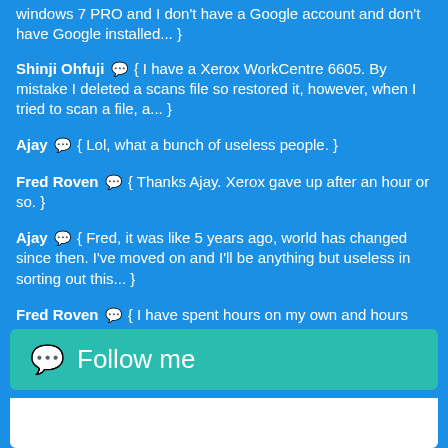windows 7 PRO and I don't have a Google account and don't have Google installed... }
Shinji Ohfuji 💬 { I have a Xerox WorkCentre 6605. By mistake I deleted a scans file so restored it, however, when I tried to scan a file, a... }
Ajay 💬 { Lol, what a bunch of useless people. }
Fred Roven 💬 { Thanks Ajay. Xerox gave up after an hour or so. }
Ajay 💬 { Fred, it was like 5 years ago, world has changed since then. I've moved on and I'll be anything but useless in sorting out this... }
Fred Roven 💬 { I have spent hours on my own and hours with Xerox and still unable to scan to folder. This just occurs on one workstation and... }
Follow me